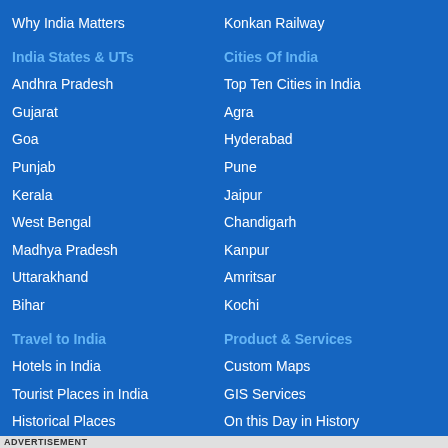Why India Matters
Konkan Railway
India States & UTs
Cities Of India
Andhra Pradesh
Top Ten Cities in India
Gujarat
Agra
Goa
Hyderabad
Punjab
Pune
Kerala
Jaipur
West Bengal
Chandigarh
Madhya Pradesh
Kanpur
Uttarakhand
Amritsar
Bihar
Kochi
Travel to India
Product & Services
Hotels in India
Custom Maps
Tourist Places in India
GIS Services
Historical Places
On this Day in History
Taj Mahal India
Current Events Archive
Religious Places
India Events
ADVERTISEMENT